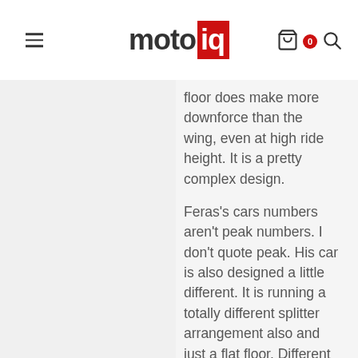motoiq
floor does make more downforce than the wing, even at high ride height. It is a pretty complex design.
Feras’s cars numbers aren’t peak numbers. I don’t quote peak. His car is also designed a little different. It is running a totally different splitter arrangement also and just a flat floor. Different designs with different goals and different budgets.
The turning vane behind the front tires are very complex. These are more of